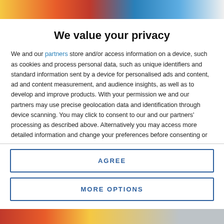[Figure (photo): Colorful banner image at top of page with orange, red, blue tones]
We value your privacy
We and our partners store and/or access information on a device, such as cookies and process personal data, such as unique identifiers and standard information sent by a device for personalised ads and content, ad and content measurement, and audience insights, as well as to develop and improve products. With your permission we and our partners may use precise geolocation data and identification through device scanning. You may click to consent to our and our partners' processing as described above. Alternatively you may access more detailed information and change your preferences before consenting or to refuse consenting. Please note that some processing of your personal data may not require your consent, but you have a right to
AGREE
MORE OPTIONS
[Figure (photo): Colorful banner image at bottom of page]